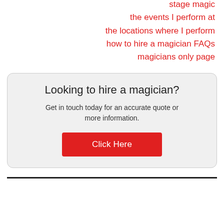stage magic
the events I perform at
the locations where I perform
how to hire a magician FAQs
magicians only page
Looking to hire a magician?
Get in touch today for an accurate quote or more information.
Click Here